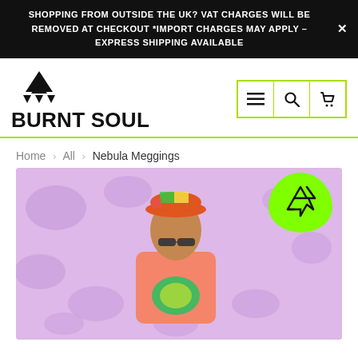SHOPPING FROM OUTSIDE THE UK? VAT CHARGES WILL BE REMOVED AT CHECKOUT *IMPORT CHARGES MAY APPLY - EXPRESS SHIPPING AVAILABLE
[Figure (logo): Burnt Soul brand logo: geometric mountain/triangle icon above bold text reading BURNT SOUL]
[Figure (illustration): Navigation icons: hamburger menu, search magnifier, and basket/cart icons in lime-green bordered boxes]
Home > All > Nebula Meggings
[Figure (photo): Product photo showing a man wearing a colorful patterned snapback cap, sunglasses, and a pink sweatshirt, standing against a lavender background with abstract blob shapes. A lime-green badge with a recycling symbol appears in the top right corner of the image.]